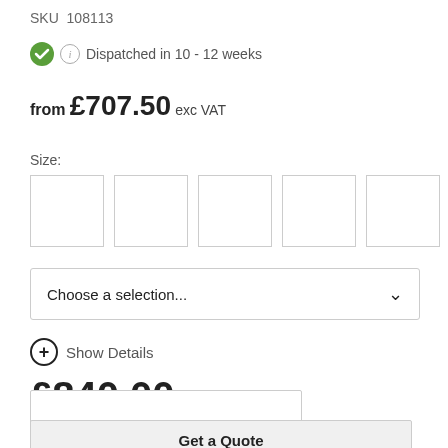SKU  108113
Dispatched in 10 - 12 weeks
from £707.50 exc VAT
Size:
Choose a selection...
Show Details
£840.00 nc VAT
Get a Quote